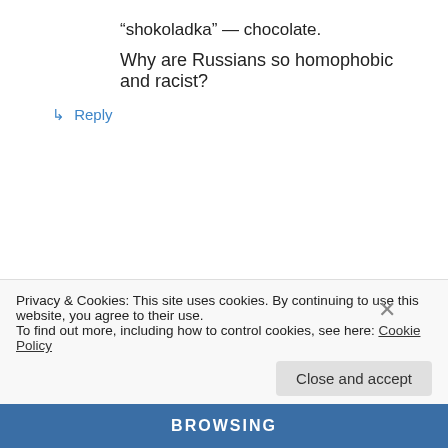“shokoladka” — chocolate.
Why are Russians so homophobic and racist?
↵ Reply
Konstantin on July 8, 2010 at 10:22 pm
Because you’ll virtually never see black people in Russia, and you know that it makes you curious to see those people and the first instinct that...
Privacy & Cookies: This site uses cookies. By continuing to use this website, you agree to their use. To find out more, including how to control cookies, see here: Cookie Policy
Close and accept